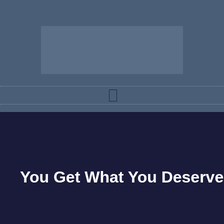[Figure (other): Dark blue-grey top section with a lighter rectangular panel in the upper center, a small outlined rectangle in the middle, and two horizontal dotted lines flanking it.]
You Get What You Deserve